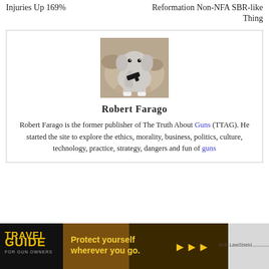Injuries Up 169%
Reformation Non-NFA SBR-like Thing
[Figure (photo): Author photo: stuffed elephant toy holding a toy gun]
Robert Farago
Robert Farago is the former publisher of The Truth About Guns (TTAG). He started the site to explore the ethics, morality, business, politics, culture, technology, practice, strategy, dangers and fun of guns
[Figure (photo): Advertisement banner: Travel Guide for Gun Owners - Protect yourself wherever you go. US LawShield.]